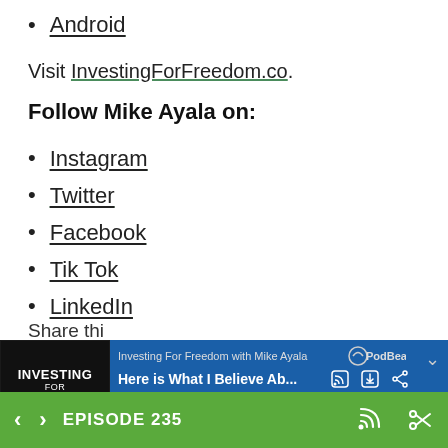Android
Visit InvestingForFreedom.co.
Follow Mike Ayala on:
Instagram
Twitter
Facebook
Tik Tok
LinkedIn
[Figure (screenshot): PodBean podcast player bar showing 'Investing For Freedom with Mike Ayala' podcast with episode title 'Here is What I Believe Ab...' and playback controls]
EPISODE 235